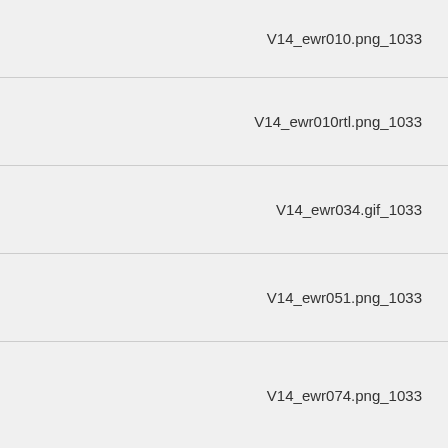V14_ewr010.png_1033
V14_ewr010rtl.png_1033
V14_ewr034.gif_1033
V14_ewr051.png_1033
V14_ewr074.png_1033